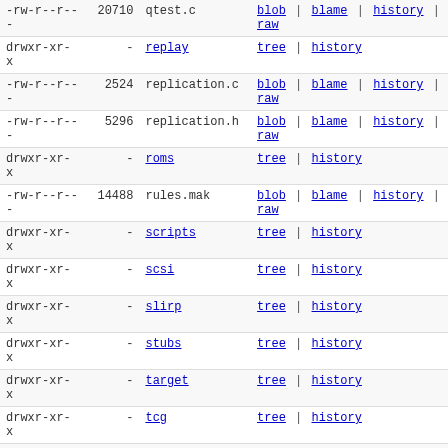| permissions | size | name | actions |
| --- | --- | --- | --- |
| -rw-r--r-- | 20710 | qtest.c | blob | blame | history | raw |
| drwxr-xr-x | - | replay | tree | history |
| -rw-r--r-- | 2524 | replication.c | blob | blame | history | raw |
| -rw-r--r-- | 5296 | replication.h | blob | blame | history | raw |
| drwxr-xr-x | - | roms | tree | history |
| -rw-r--r-- | 14488 | rules.mak | blob | blame | history | raw |
| drwxr-xr-x | - | scripts | tree | history |
| drwxr-xr-x | - | scsi | tree | history |
| drwxr-xr-x | - | slirp | tree | history |
| drwxr-xr-x | - | stubs | tree | history |
| drwxr-xr-x | - | target | tree | history |
| drwxr-xr-x | - | tcg | tree | history |
| drwxr-xr-x | - | tests | tree | history |
| -rw-r--r-- | 9287 | thunk.c | blob | blame | history | raw |